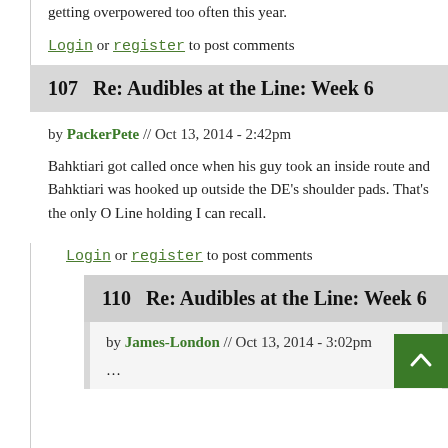getting overpowered too often this year.
Login or register to post comments
107   Re: Audibles at the Line: Week 6
by PackerPete // Oct 13, 2014 - 2:42pm
Bahktiari got called once when his guy took an inside route and Bahktiari was hooked up outside the DE's shoulder pads. That's the only O Line holding I can recall.
Login or register to post comments
110   Re: Audibles at the Line: Week 6
by James-London // Oct 13, 2014 - 3:02pm